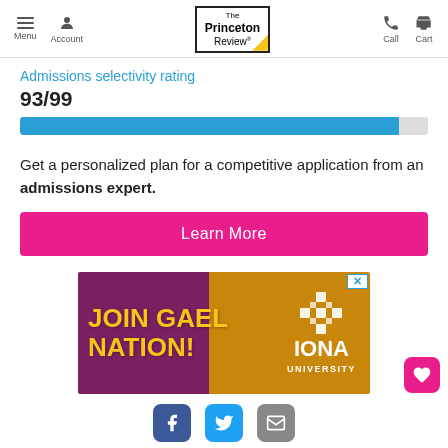Menu | Account | The Princeton Review | Call | Cart
Admissions selectivity rating
93/99
[Figure (other): A horizontal progress bar showing 93/99 admissions selectivity rating, blue fill at approximately 93% width on a grey background]
Get a personalized plan for a competitive application from an admissions expert.
Learn More
[Figure (photo): Advertisement banner for Iona University showing 'JOIN GAEL NATION!' in large yellow text on a gold and purple background with a university building image and the Iona University logo.]
Facebook | Twitter | Email social share icons